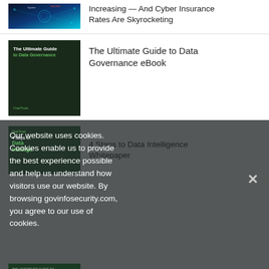[Figure (illustration): Thumbnail image of cybersecurity themed graphic with blue digital network visuals]
Increasing — And Cyber Insurance Rates Are Skyrocketing
[Figure (illustration): Dark green book cover thumbnail: 'The Ultimate Guide to Data Governance' by OneTrust]
The Ultimate Guide to Data Governance eBook
Our website uses cookies. Cookies enable us to provide the best experience possible and help us understand how visitors use our website. By browsing govinfosecurity.com, you agree to our use of cookies.
[Figure (illustration): Dark green thumbnail: 4 Steps to Data Intelligence whitepaper by OneTrust]
4 Steps to Data Intelligence Whitepaper
[Figure (illustration): Dark green thumbnail for The OneTrust Guide to Unstructured Data]
The OneTrust Guide to Unstructured Data